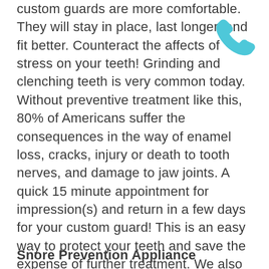custom guards are more comfortable. They will stay in place, last longer, and fit better. Counteract the affects of stress on your teeth! Grinding and clenching teeth is very common today. Without preventive treatment like this, 80% of Americans suffer the consequences in the way of enamel loss, cracks, injury or death to tooth nerves, and damage to jaw joints. A quick 15 minute appointment for impression(s) and return in a few days for your custom guard! This is an easy way to protect your teeth and save the expense of further treatment. We also offer PLAYSAFE MOUTHGUARDS for sports protection! They give up to 5 layers of plastic protection and come in a wide range of colors. Great for team sports players!
[Figure (illustration): Light blue telephone handset icon]
Snore Prevention Appliance